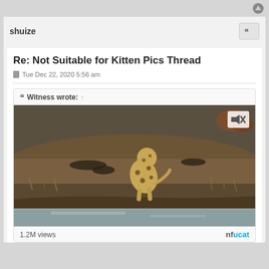shuize
Re: Not Suitable for Kitten Pics Thread
Tue Dec 22, 2020 5:56 am
Witness wrote: ↑
[Figure (photo): A leopard crouching at the edge of a river or waterway in a dry savanna landscape. The scene shows brown and grey terrain with sparse dry grass and vegetation. A mute/unmute icon appears in the upper right corner of the image. This appears to be a video thumbnail or embedded video.]
1.2M views